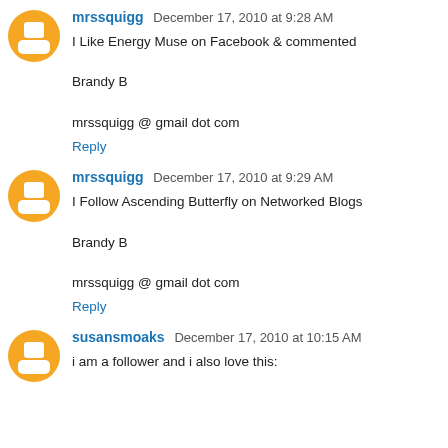mrssquigg December 17, 2010 at 9:28 AM
I Like Energy Muse on Facebook & commented

Brandy B

mrssquigg @ gmail dot com
Reply
mrssquigg December 17, 2010 at 9:29 AM
I Follow Ascending Butterfly on Networked Blogs

Brandy B

mrssquigg @ gmail dot com
Reply
susansmoaks December 17, 2010 at 10:15 AM
i am a follower and i also love this: